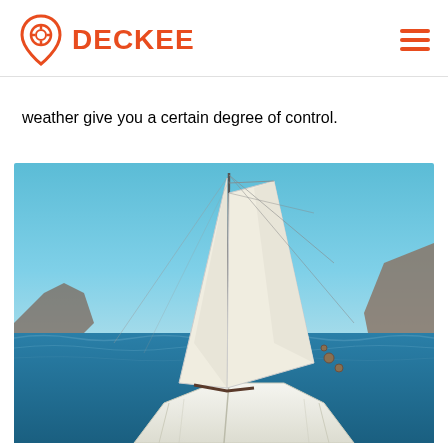DECKEE
weather give you a certain degree of control.
[Figure (photo): View from the deck of a sailboat at sea with large white sails billowing, blue sky, calm ocean water, and rocky cliffs in the background.]